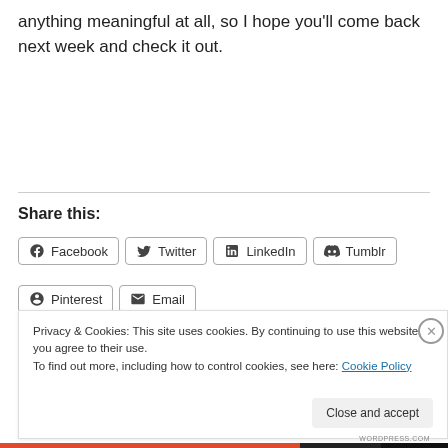anything meaningful at all, so I hope you'll come back next week and check it out.
Share this:
Facebook  Twitter  LinkedIn  Tumblr  Pinterest  Email
Privacy & Cookies: This site uses cookies. By continuing to use this website, you agree to their use.
To find out more, including how to control cookies, see here: Cookie Policy
Close and accept